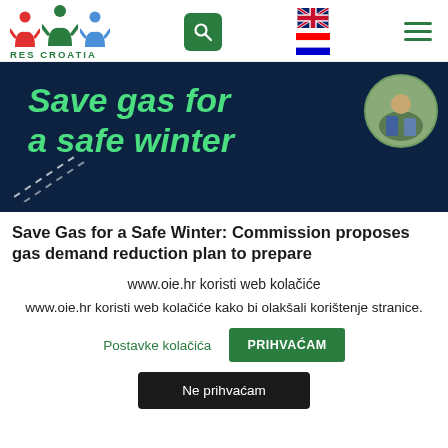RES CROATIA - navigation bar with logo, search, language flags, hamburger menu
[Figure (illustration): Dark navy blue banner with italic bold green text 'Save gas for a safe winter', dashed white diagonal lines at bottom left, circular photo inset at top right showing people]
Save Gas for a Safe Winter: Commission proposes gas demand reduction plan to prepare
www.oie.hr koristi web kolačiće
www.oie.hr koristi web kolačiće kako bi olakšali korištenje stranice.
Postavke kolačića
PRIHVAĆAM
Ne prihvaćam